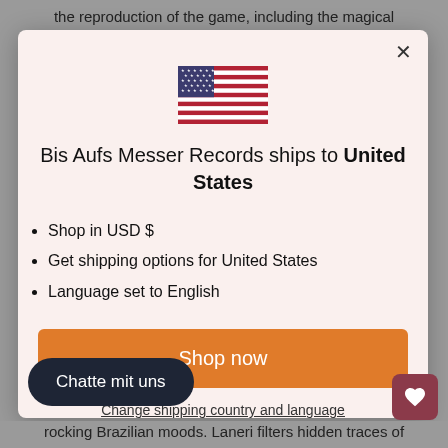the reproduction of the game, including the magical
[Figure (illustration): US flag SVG illustration]
Bis Aufs Messer Records ships to United States
Shop in USD $
Get shipping options for United States
Language set to English
Shop now
Change shipping country and language
Chatte mit uns
rocking Brazilian moods. Laneri filters hidden traces of